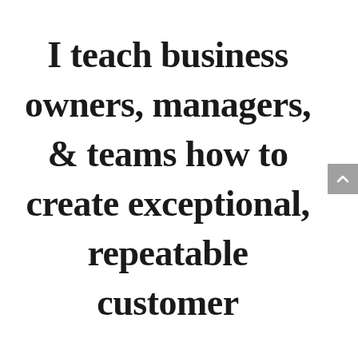I teach business owners, managers, & teams how to create exceptional, repeatable customer